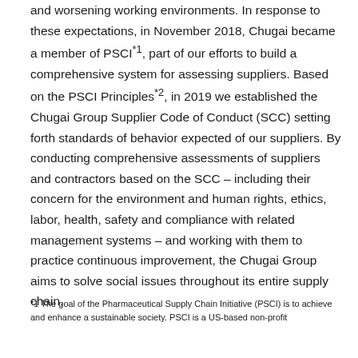and worsening working environments. In response to these expectations, in November 2018, Chugai became a member of PSCI*1, part of our efforts to build a comprehensive system for assessing suppliers. Based on the PSCI Principles*2, in 2019 we established the Chugai Group Supplier Code of Conduct (SCC) setting forth standards of behavior expected of our suppliers. By conducting comprehensive assessments of suppliers and contractors based on the SCC – including their concern for the environment and human rights, ethics, labor, health, safety and compliance with related management systems – and working with them to practice continuous improvement, the Chugai Group aims to solve social issues throughout its entire supply chain.
*1 The goal of the Pharmaceutical Supply Chain Initiative (PSCI) is to achieve and enhance a sustainable society. PSCI is a US-based non-profit...